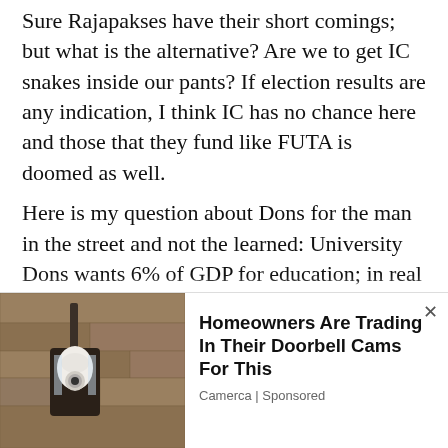Sure Rajapakses have their short comings; but what is the alternative? Are we to get IC snakes inside our pants? If election results are any indication, I think IC has no chance here and those that they fund like FUTA is doomed as well.
Here is my question about Dons for the man in the street and not the learned: University Dons wants 6% of GDP for education; in real terms, 6% of GDP means ‘one quarter’ of all government spending not its collection. Most people complain that even that collection or current taxation is too high for them to bear.
[Figure (photo): Photo of an outdoor wall lamp/lantern with a white bulb/camera device, appearing to be an advertisement image for a doorbell camera product.]
Homeowners Are Trading In Their Doorbell Cams For This
Camerca | Sponsored